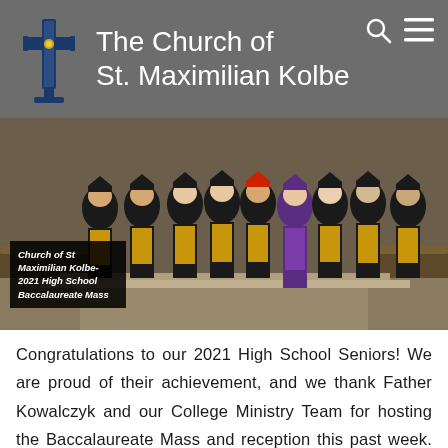The Church of St. Maximilian Kolbe
[Figure (photo): Group photo of high school seniors in graduation gowns and caps with gold/orange stoles, standing in a church. One student in purple graduation gown stands out. A dark overlay in the bottom left reads: Church of St Maximilian Kolbe- 2021 High School Baccalaureate Mass]
Congratulations to our 2021 High School Seniors! We are proud of their achievement, and we thank Father Kowalczyk and our College Ministry Team for hosting the Baccalaureate Mass and reception this past week. To learn more about our College Ministry program, check us out St Max College Mi...